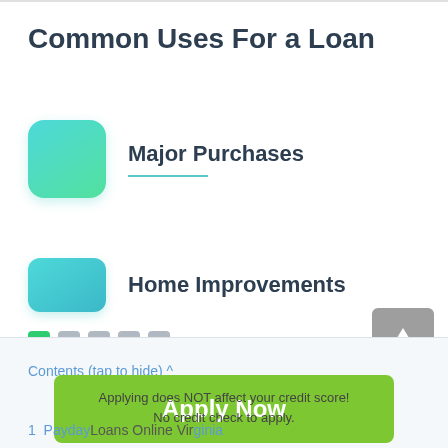Common Uses For a Loan
Major Purchases
Home Improvements
[Figure (infographic): Navigation dots: one green active dot followed by four grey dots]
[Figure (infographic): Grey square button with white upward arrow icon]
Contents (tap to hide)
[Figure (infographic): Green Apply Now button with white text]
Applying does NOT affect your credit score!
No credit check to apply.
1  Payday Loans Online Virginia
2  How to Get Payday Loan Online Services in